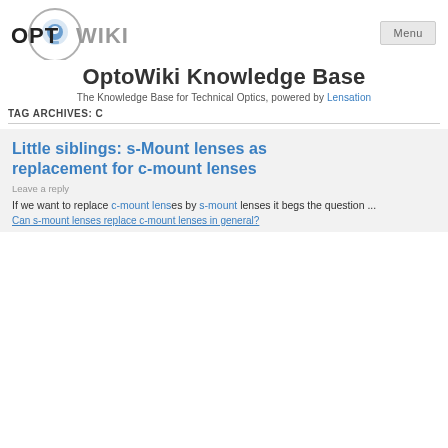[Figure (logo): OptoWiki logo with stylized text OPTOWIKI and a blue lightbulb/eye icon]
OptoWiki Knowledge Base
The Knowledge Base for Technical Optics, powered by Lensation
TAG ARCHIVES: C
Little siblings: s-Mount lenses as replacement for c-mount lenses
Leave a reply
If we want to replace c-mount lenses by s-mount lenses it begs the question ...
Can s-mount lenses replace c-mount lenses in general?